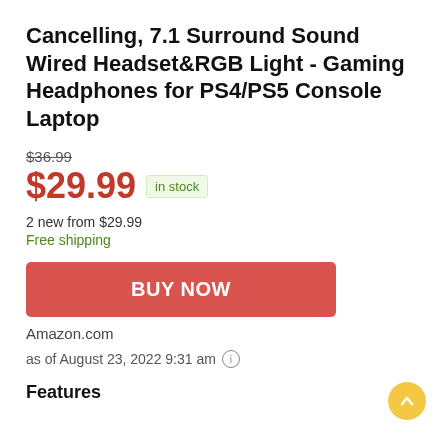Cancelling, 7.1 Surround Sound Wired Headset&RGB Light - Gaming Headphones for PS4/PS5 Console Laptop
$36.99
$29.99  in stock
2 new from $29.99
Free shipping
BUY NOW
Amazon.com
as of August 23, 2022 9:31 am ℹ
Features